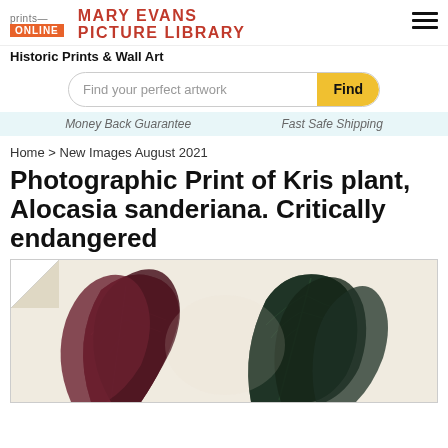prints— ONLINE | MARY EVANS PICTURE LIBRARY
Historic Prints & Wall Art
Find your perfect artwork | Find
Money Back Guarantee | Fast Safe Shipping
Home > New Images August 2021
Photographic Print of Kris plant, Alocasia sanderiana. Critically endangered
[Figure (illustration): Botanical illustration of Kris plant (Alocasia sanderiana) showing large dark leaves with white veining, from L'Illustration Horticole, Pl. XXV]